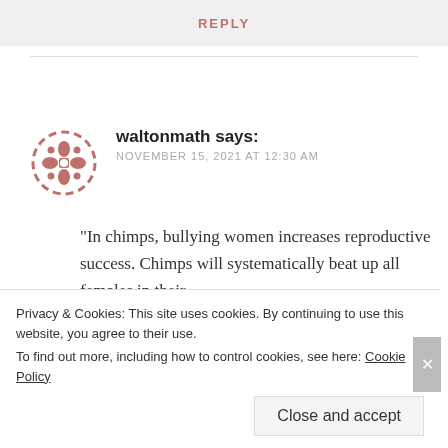REPLY
[Figure (logo): Circular decorative avatar icon in muted red/rose color with a flower-like geometric pattern]
waltonmath says:
NOVEMBER 15, 2021 AT 12:30 AM
“In chimps, bullying women increases reproductive success. Chimps will systematically beat up all females in their
Privacy & Cookies: This site uses cookies. By continuing to use this website, you agree to their use.
To find out more, including how to control cookies, see here: Cookie Policy
Close and accept